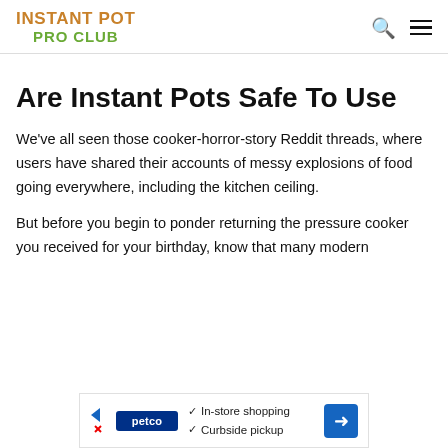INSTANT POT PRO CLUB
Are Instant Pots Safe To Use
We've all seen those cooker-horror-story Reddit threads, where users have shared their accounts of messy explosions of food going everywhere, including the kitchen ceiling.
But before you begin to ponder returning the pressure cooker you received for your birthday, know that many modern
[Figure (screenshot): Petco advertisement banner showing Petco logo, checkmarks for 'In-store shopping' and 'Curbside pickup', and a blue navigation arrow icon]